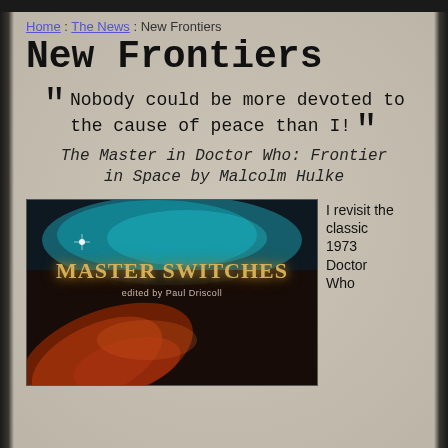Home : The News : New Frontiers
New Frontiers
“Nobody could be more devoted to the cause of peace than I!”
The Master in Doctor Who: Frontier in Space by Malcolm Hulke
[Figure (photo): Book cover of 'Master Switches edited by Paul Driscoll' — dark space background with teal nebula and golden stylized title text, with reddish swirling elements at the bottom]
I revisit the classic 1973 Doctor Who